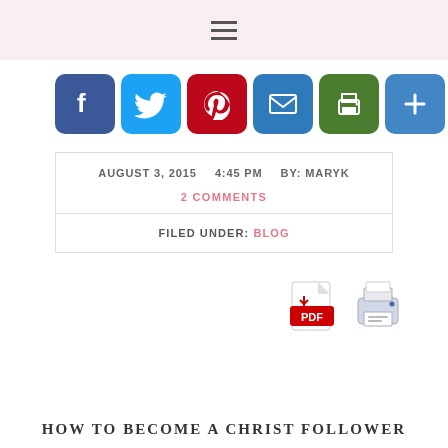[Figure (infographic): Social share buttons: Facebook (blue), Twitter (light blue), Pinterest (red), Email (blue), Print (green), Plus/More (blue)]
AUGUST 3, 2015   4:45 PM   BY: MARYK
2 COMMENTS
FILED UNDER: BLOG
[Figure (illustration): PDF icon and printer icon side by side]
HOW TO BECOME A CHRIST FOLLOWER